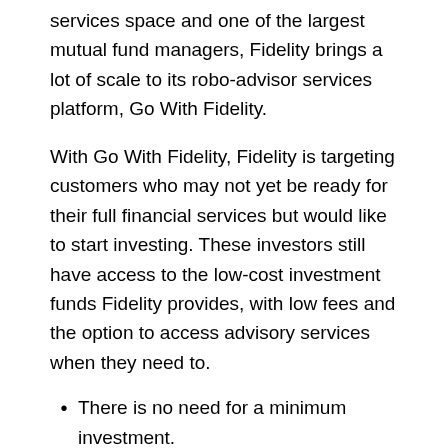services space and one of the largest mutual fund managers, Fidelity brings a lot of scale to its robo-advisor services platform, Go With Fidelity.
With Go With Fidelity, Fidelity is targeting customers who may not yet be ready for their full financial services but would like to start investing. These investors still have access to the low-cost investment funds Fidelity provides, with low fees and the option to access advisory services when they need to.
There is no need for a minimum investment.
Fees: For accounts under $10,000, there is no advising fee. Fees are $3 per month for